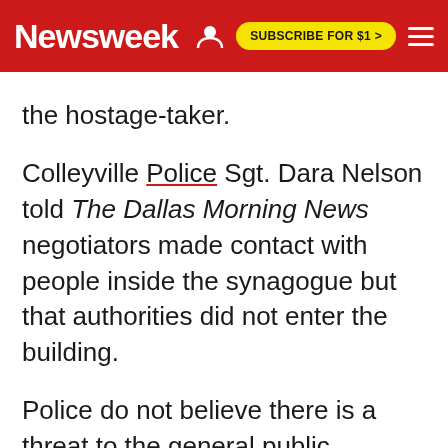Newsweek | SUBSCRIBE FOR $1 >
the hostage-taker.
Colleyville Police Sgt. Dara Nelson told The Dallas Morning News negotiators made contact with people inside the synagogue but that authorities did not enter the building.
Police do not believe there is a threat to the general public, according to the Morning News.